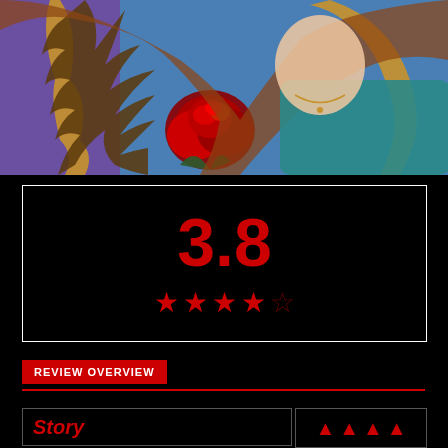[Figure (illustration): Comic book style illustration showing a woman with long hair holding red roses, with a golden ornate mirror frame visible. The woman is wearing a teal/blue off-shoulder top and a necklace.]
3.8
[Figure (infographic): Star rating display showing 4 filled red stars and 1 empty/outline star, representing a rating of 3.8 out of 5.]
REVIEW OVERVIEW
Story